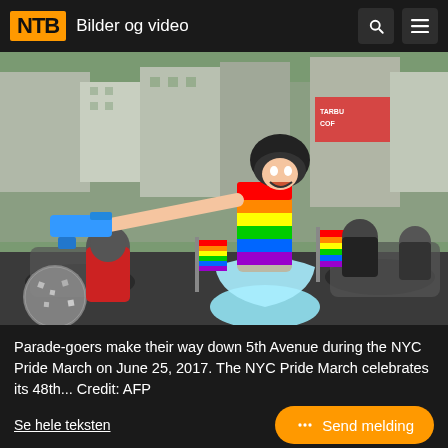NTB Bilder og video
[Figure (photo): Person in rainbow dress and helmet holding a blue toy gun while riding a motorcycle at the NYC Pride March on 5th Avenue, with other motorcyclists and rainbow flags visible in the background.]
Parade-goers make their way down 5th Avenue during the NYC Pride March on June 25, 2017. The NYC Pride March celebrates its 48th... Credit: AFP
Se hele teksten